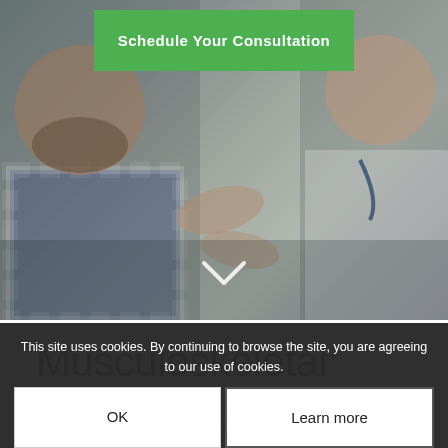[Figure (photo): Hero image showing a male patient and a female doctor/healthcare professional with hands gesturing, overlaid with a green CTA button and a white down-chevron]
Musculoskeletal Research
This site uses cookies. By continuing to browse the site, you are agreeing to our use of cookies.
Kinetisense is the assessment tool of choice for clinical research for several reasons. From its single-sensor setup, its versatility and affordability